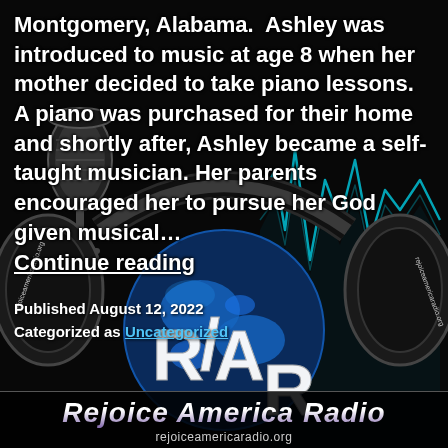[Figure (illustration): Dark background with a large microphone on the left, over-ear headphones, a globe with 'RAR' letters in 3D block style, and teal/blue sound wave visualizations on the right. The headphone bands display 'rejoiceamericaradio.org'.]
Montgomery, Alabama.  Ashley was introduced to music at age 8 when her mother decided to take piano lessons.  A piano was purchased for their home and shortly after, Ashley became a self-taught musician. Her parents encouraged her to pursue her God given musical… Continue reading
Published August 12, 2022
Categorized as Uncategorized
Rejoice America Radio
rejoiceamericaradio.org